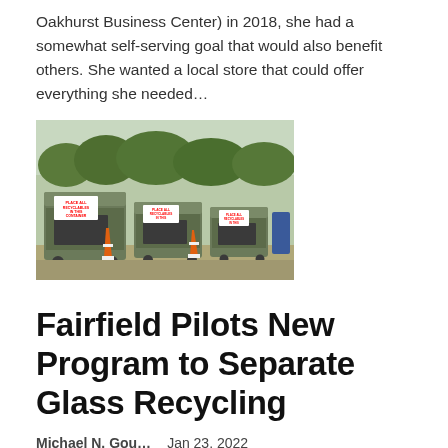Oakhurst Business Center) in 2018, she had a somewhat self-serving goal that would also benefit others. She wanted a local store that could offer everything she needed…
[Figure (photo): Row of large green recycling dumpsters with signs reading 'PLACE ALL RECYCLABLES IN THIS CONTAINER', orange traffic cones visible, parked on a paved lot with trees in the background.]
Fairfield Pilots New Program to Separate Glass Recycling
Michael N. Gou…    Jan 23, 2022
FAIRFIELD — Residents are now encouraged to separate their glass from other recyclables as part of a new effort to reduce contamination, save money and make recycling safer and more efficient. Under the new pilot program, residents can